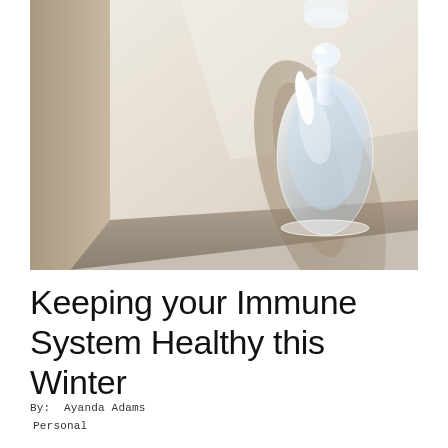[Figure (photo): Close-up photograph of a glass of water on a light wooden table or surface, shot from an angle. The glass casts a curved shadow. The scene is bright and airy with warm neutral tones.]
Keeping your Immune System Healthy this Winter
By:  Ayanda Adams
Personal